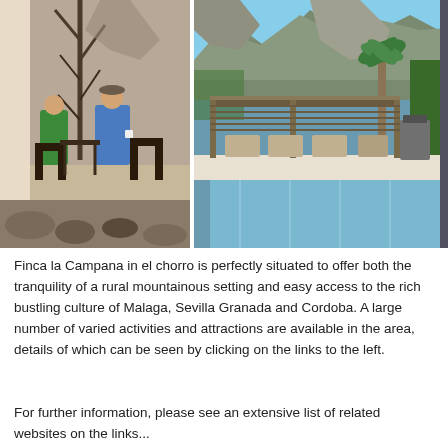[Figure (photo): Two photos side by side: left photo shows two people sitting on a terrace with chairs and bare trees in a rocky mountainous setting; right photo shows a pool area with a pergola/shade structure, outdoor furniture, and a rocky mountain backdrop with a palm tree.]
Finca la Campana in el chorro is perfectly situated to offer both the tranquility of a rural mountainous setting and easy access to the rich bustling culture of Malaga, Sevilla Granada and Cordoba. A large number of varied activities and attractions are available in the area, details of which can be seen by clicking on the links to the left.
For further information, please see an extensive list of related websites on the links...